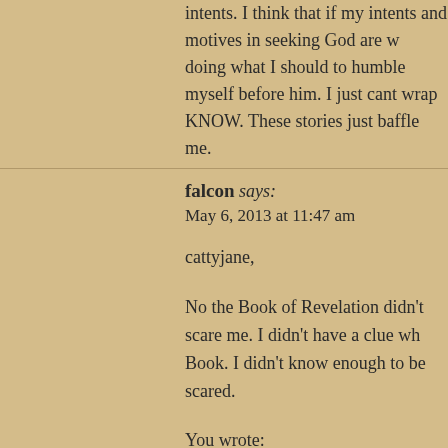intents. I think that if my intents and motives in seeking God are w doing what I should to humble myself before him. I just cant wrap KNOW. These stories just baffle me.
falcon says:
May 6, 2013 at 11:47 am
cattyjane,

No the Book of Revelation didn't scare me. I didn't have a clue wh Book. I didn't know enough to be scared.

You wrote:

“I just think that we have to keep striving to please god and keep a

Forgive me but you have to let that go. I understand the sentiment at your performance gap. You can never do enough to please God.